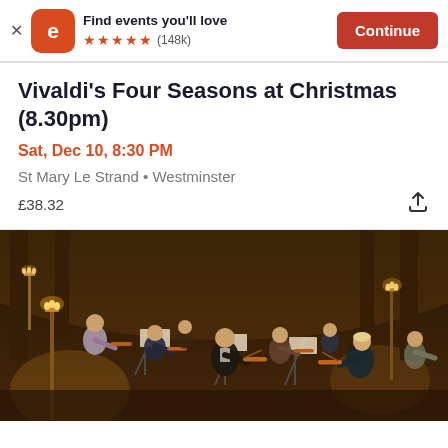[Figure (screenshot): Eventbrite app banner with logo, tagline 'Find events you'll love', 5 star rating (148k), and orange Continue button]
Vivaldi's Four Seasons at Christmas (8.30pm)
Sat, Dec 10, 8:30 PM
St Mary Le Strand • Westminster
£38.32
[Figure (photo): Orchestra performing in a candlelit church, musicians in formal attire playing violins and other string instruments]